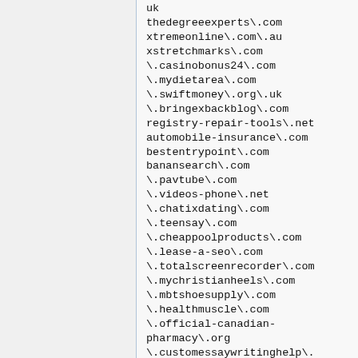uk
thedegreeexperts\.com
xtremeonline\.com\.au
xstretchmarks\.com
\.casinobonus24\.com
\.mydietarea\.com
\.swiftmoney\.org\.uk
\.bringexbackblog\.com
registry-repair-tools\.net
automobile-insurance\.com
bestentrypoint\.com
banansearch\.com
\.pavtube\.com
\.videos-phone\.net
\.chatixdating\.com
\.teensay\.com
\.cheappoolproducts\.com
\.lease-a-seo\.com
\.totalscreenrecorder\.com
\.mychristianheels\.com
\.mbtshoesupply\.com
\.healthmuscle\.com
\.official-canadian-pharmacy\.org
\.customessaywritinghelp\.